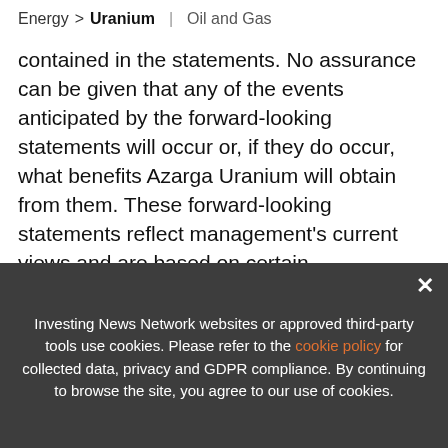Energy > Uranium | Oil and Gas
contained in the statements. No assurance can be given that any of the events anticipated by the forward-looking statements will occur or, if they do occur, what benefits Azarga Uranium will obtain from them. These forward-looking statements reflect management's current views and are based on certain expectations, estimates and assu[mptions that Azarga Urani]um [...]
[Figure (infographic): Advertisement banner: 'UPDATED!' badge in red, book image 'URANIUM OUTLOOK 2022', text 'TOP URANIUM Stocks, Trends, Forecasts / 2022 Uranium Outlook Report', INN logo, X close button]
Investing News Network websites or approved third-party tools use cookies. Please refer to the cookie policy for collected data, privacy and GDPR compliance. By continuing to browse the site, you agree to our use of cookies.